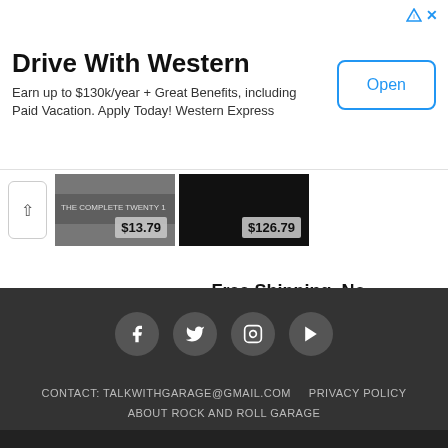[Figure (screenshot): Ad banner: Drive With Western. Earn up to $130k/year + Great Benefits, including Paid Vacation. Apply Today! Western Express. Open button.]
[Figure (screenshot): Product strip with up arrow button, two product images with price tags $13.79 and $126.79]
[Figure (screenshot): Advertisement section with popmarket logo, Free Shipping. No Minimum, popmarket.com]
[Figure (screenshot): Footer with social icons (Facebook, Twitter, Instagram, YouTube), contact email, privacy policy, about link]